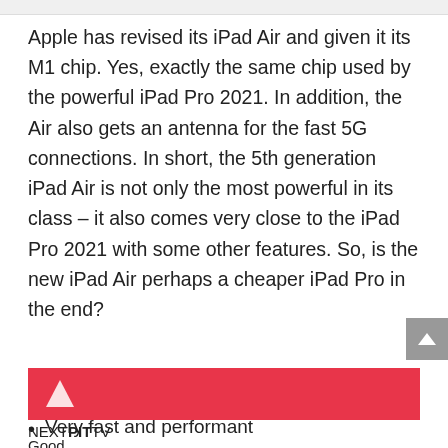Apple has revised its iPad Air and given it its M1 chip. Yes, exactly the same chip used by the powerful iPad Pro 2021. In addition, the Air also gets an antenna for the fast 5G connections. In short, the 5th generation iPad Air is not only the most powerful in its class – it also comes very close to the iPad Pro 2021 with some other features. So, is the new iPad Air perhaps a cheaper iPad Pro in the end?
[Figure (other): Red banner with NEXTPIT TV logo (white triangle logo on red background)]
NEXTPIT TV
Good
Very fast and performant